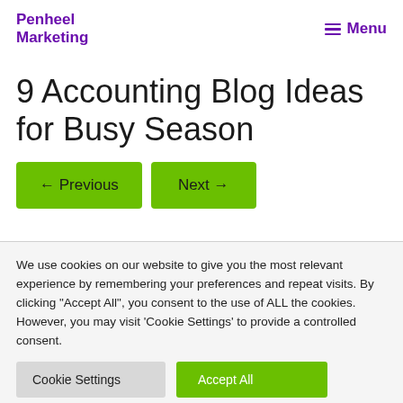Penheel Marketing | Menu
9 Accounting Blog Ideas for Busy Season
← Previous   Next →
We use cookies on our website to give you the most relevant experience by remembering your preferences and repeat visits. By clicking "Accept All", you consent to the use of ALL the cookies. However, you may visit 'Cookie Settings' to provide a controlled consent.
Cookie Settings   Accept All